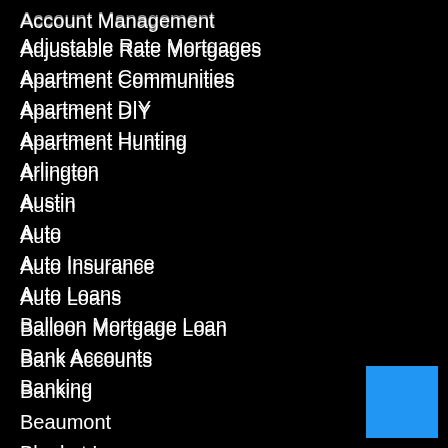Account Management
Adjustable Rate Mortgages
Apartment Communities
Apartment DIY
Apartment Hunting
Arlington
Austin
Auto
Auto Insurance
Auto Loans
Balloon Mortgage Loan
Bank Accounts
Banking
Beaumont
Blanket Loans
Breaking News